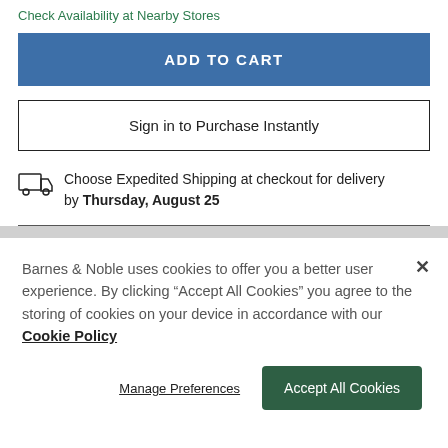Check Availability at Nearby Stores
ADD TO CART
Sign in to Purchase Instantly
Choose Expedited Shipping at checkout for delivery by Thursday, August 25
Barnes & Noble uses cookies to offer you a better user experience. By clicking "Accept All Cookies" you agree to the storing of cookies on your device in accordance with our Cookie Policy
Manage Preferences
Accept All Cookies